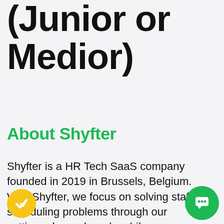(Junior or Medior)
About Shyfter
Shyfter is a HR Tech SaaS company founded in 2019 in Brussels, Belgium. With Shyfter, we focus on solving staff scheduling problems through our cutting edge web and mobile applications. In a nutshell, we scrap all the boring tasks related to employee scheduling and HR.